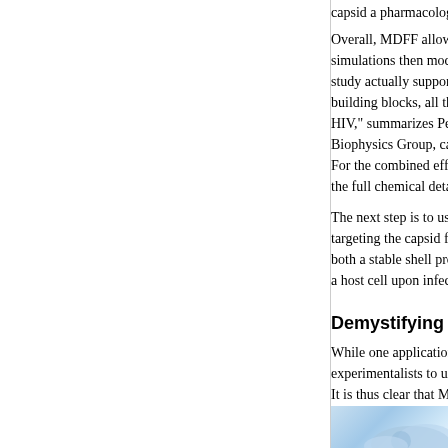capsid a pharmacologist or HIV biologist could wis
Overall, MDFF allowed a unique insight into the HIV simulations then modeled how the pentamer actua study actually supports what Perilla and Schulten f building blocks, all the interactions that keep a cap HIV," summarizes Perilla. More details about the si Biophysics Group, can be found in this video that. For the combined efforts of the experimentalists, te the full chemical detail of the HIV capsid merited a
The next step is to use the results of this MDFF wo targeting the capsid for treatments of HIV infection both a stable shell protecting the viral RNA and, in a host cell upon infection.
Demystifying Antibiotic Resistance
While one application of MDFF was on the HIV cap experimentalists to unearth the capsid of the rabbi It is thus clear that MDFF is indirectly useful in the groundbreaking book, The Coming Plague, laying d ahead of scientists' ability to fight them, and that ol comeback is that bacterial infectious agents, treate bacteria, such as Staphylococcus aureus and cert powerful antibiotics.
[Figure (illustration): Partial illustration visible at bottom right corner of the page]